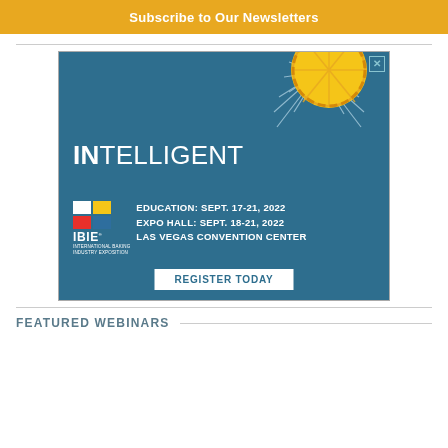Subscribe to Our Newsletters
[Figure (illustration): IBIE 2022 advertisement banner with blue background, lemon sun decoration, text reading INTELLIGENT, IBIE EDUCATION: SEPT. 17-21, 2022 EXPO HALL: SEPT. 18-21, 2022 LAS VEGAS CONVENTION CENTER, and REGISTER TODAY button]
FEATURED WEBINARS